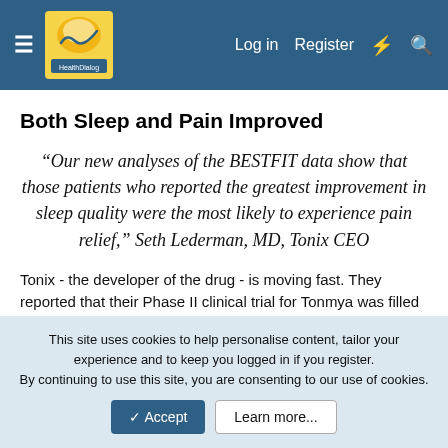HealthDialog — Log in  Register
Both Sleep and Pain Improved
“Our new analyses of the BESTFIT data show that those patients who reported the greatest improvement in sleep quality were the most likely to experience pain relief,” Seth Lederman, MD, Tonix CEO
Tonix - the developer of the drug - is moving fast. They reported that their Phase II clinical trial for Tonmya was filled in June of this year and reported results on the trial last month.They’ve already begun final (Phase III) trials.
This site uses cookies to help personalise content, tailor your experience and to keep you logged in if you register.
By continuing to use this site, you are consenting to our use of cookies.